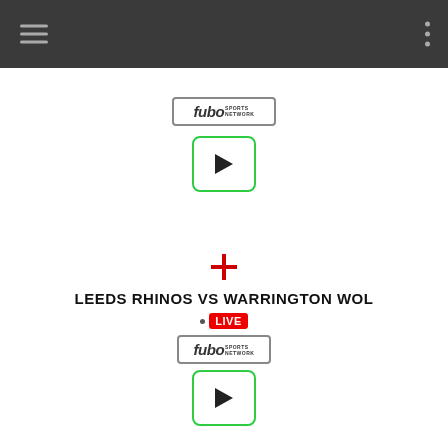[Figure (screenshot): Mobile app navigation bar with hamburger menu on left and three-dot menu on right]
[Figure (logo): fuboTV Sports Network logo]
[Figure (illustration): Green play button icon]
[Figure (illustration): England flag cross icon]
LEEDS RHINOS VS WARRINGTON WOL
LIVE
[Figure (logo): fuboTV Sports Network logo]
[Figure (illustration): Green play button icon]
[Figure (illustration): England flag cross icon]
ST HELENS VS HULL KINGSTON ROV
LIVE